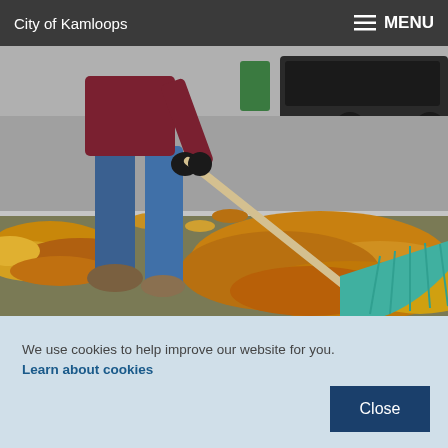City of Kamloops    ≡ MENU
[Figure (photo): Person raking autumn leaves on a sidewalk with a green rake. Fallen yellow and orange leaves cover the ground. A vehicle is visible in the background on the street.]
We use cookies to help improve our website for you. Learn about cookies
Close